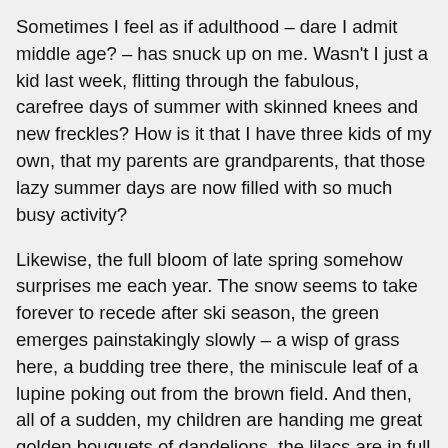Sometimes I feel as if adulthood – dare I admit middle age? – has snuck up on me. Wasn't I just a kid last week, flitting through the fabulous, carefree days of summer with skinned knees and new freckles? How is it that I have three kids of my own, that my parents are grandparents, that those lazy summer days are now filled with so much busy activity?
Likewise, the full bloom of late spring somehow surprises me each year. The snow seems to take forever to recede after ski season, the green emerges painstakingly slowly – a wisp of grass here, a budding tree there, the miniscule leaf of a lupine poking out from the brown field. And then, all of a sudden, my children are handing me great golden bouquets of dandelions, the lilacs are in full bloom, and the forests bordering the fields have formed a broad canopy of foliage.
And so it was this year, one day hauling buckets of sap from the old sugar maple for our small sugaring operation, the next marveling at the tree's fruit spinning through the bright air, seeking a place for the next generation to take root and thrive.